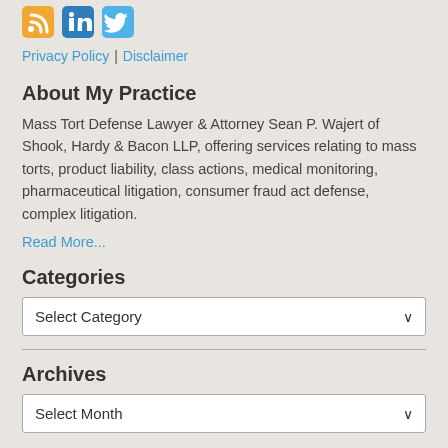[Figure (other): Social media icons: RSS (orange), LinkedIn (blue), Twitter (light blue)]
Privacy Policy | Disclaimer
About My Practice
Mass Tort Defense Lawyer & Attorney Sean P. Wajert of Shook, Hardy & Bacon LLP, offering services relating to mass torts, product liability, class actions, medical monitoring, pharmaceutical litigation, consumer fraud act defense, complex litigation.
Read More...
Categories
Select Category
Archives
Select Month